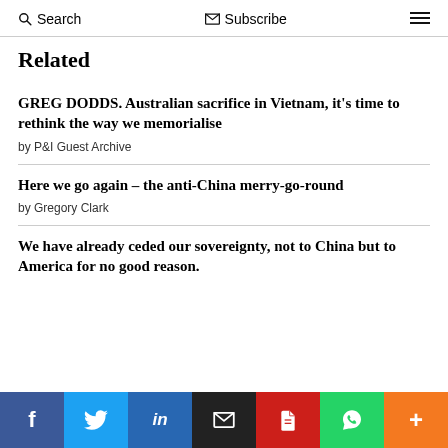Search   Subscribe   ≡
Related
GREG DODDS.  Australian sacrifice in Vietnam, it's time to rethink the way we memorialise
by P&I Guest Archive
Here we go again – the anti-China merry-go-round
by Gregory Clark
We have already ceded our sovereignty, not to China but to America for no good reason.